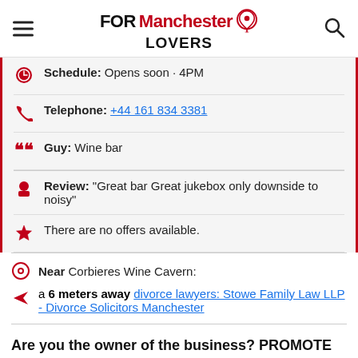FOR Manchester LOVERS
Schedule: Opens soon · 4PM
Telephone: +44 161 834 3381
Guy: Wine bar
Review: "Great bar Great jukebox only downside to noisy"
There are no offers available.
Near Corbieres Wine Cavern:
a 6 meters away divorce lawyers: Stowe Family Law LLP - Divorce Solicitors Manchester
Are you the owner of the business? PROMOTE IT!